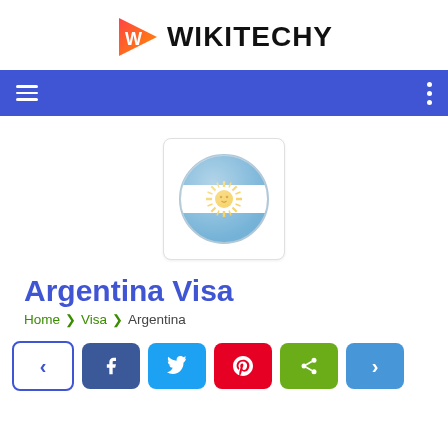[Figure (logo): Wikitechy logo with red/orange arrow-play icon and bold WIKITECHY text]
[Figure (illustration): Argentina flag as a circular globe-style icon in a rounded white box]
Argentina Visa
Home > Visa > Argentina
[Figure (infographic): Social share buttons row: prev arrow, Facebook, Twitter, Pinterest, share, next arrow]